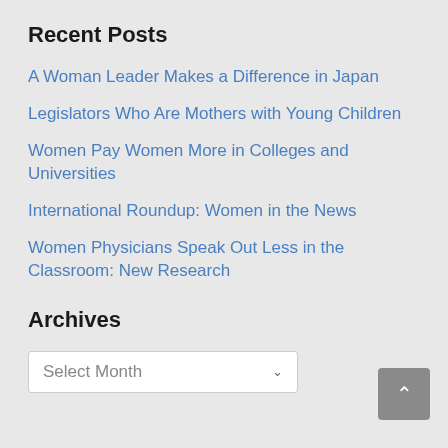Recent Posts
A Woman Leader Makes a Difference in Japan
Legislators Who Are Mothers with Young Children
Women Pay Women More in Colleges and Universities
International Roundup: Women in the News
Women Physicians Speak Out Less in the Classroom: New Research
Archives
Select Month